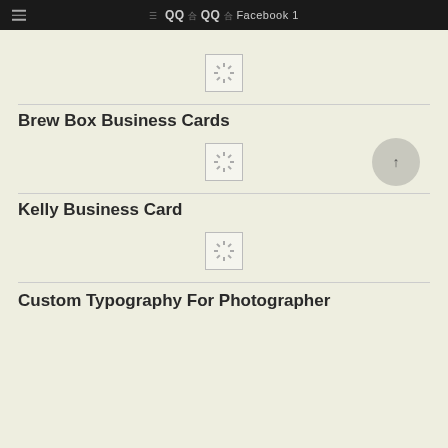QQ Facebook 1
[Figure (illustration): Loading spinner placeholder image thumbnail]
Brew Box Business Cards
[Figure (illustration): Loading spinner placeholder image thumbnail]
Kelly Business Card
[Figure (illustration): Loading spinner placeholder image thumbnail]
Custom Typography For Photographer